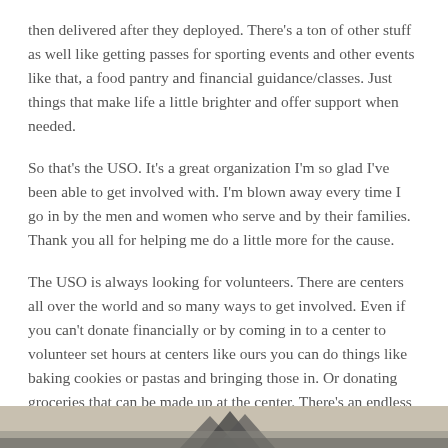then delivered after they deployed. There's a ton of other stuff as well like getting passes for sporting events and other events like that, a food pantry and financial guidance/classes. Just things that make life a little brighter and offer support when needed.
So that's the USO. It's a great organization I'm so glad I've been able to get involved with. I'm blown away every time I go in by the men and women who serve and by their families. Thank you all for helping me do a little more for the cause.
The USO is always looking for volunteers. There are centers all over the world and so many ways to get involved. Even if you can't donate financially or by coming in to a center to volunteer set hours at centers like ours you can do things like baking cookies or pastas and bringing those in. Or donating groceries that can be made up at the center. There's an endless amount of ways to get involved. Just check out your own USO center and give them a ring. There's a list of USO centers world wide HERE. I hope yall will consider getting involved! It's an amazing experience no question.
[Figure (photo): Partial bottom image, appears to be a building or tent structure, cropped at page bottom]